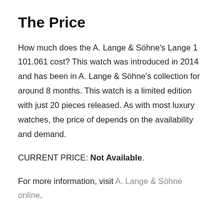The Price
How much does the A. Lange & Söhne's Lange 1 101.061 cost? This watch was introduced in 2014 and has been in A. Lange & Söhne's collection for around 8 months. This watch is a limited edition with just 20 pieces released. As with most luxury watches, the price of depends on the availability and demand.
CURRENT PRICE: Not Available.
For more information, visit A. Lange & Söhne online.